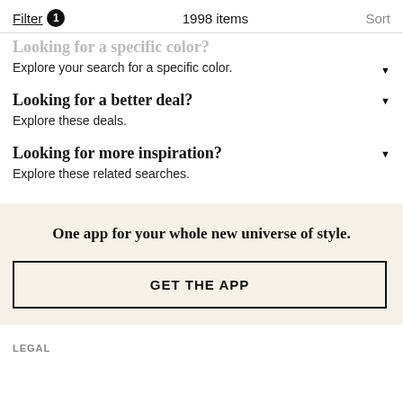Filter 1   1998 items   Sort
Looking for a specific color?
Explore your search for a specific color.
Looking for a better deal?
Explore these deals.
Looking for more inspiration?
Explore these related searches.
One app for your whole new universe of style.
GET THE APP
LEGAL